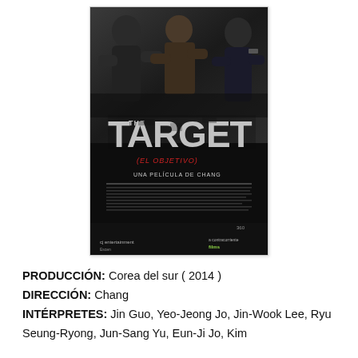[Figure (photo): Movie poster for 'The Target (El Objetivo)', a Korean action film directed by Chang. The poster shows several men in a physical confrontation with the large white text 'THE TARGET' prominently displayed. Subtitle reads '(EL OBJETIVO)' in red and 'UNA PELÍCULA DE CHANG' below. Production company logos at bottom.]
PRODUCCIÓN: Corea del sur ( 2014 )
DIRECCIÓN: Chang
INTÉRPRETES: Jin Guo, Yeo-Jeong Jo, Jin-Wook Lee, Ryu Seung-Ryong, Jun-Sang Yu, Eun-Ji Jo, Kim ...